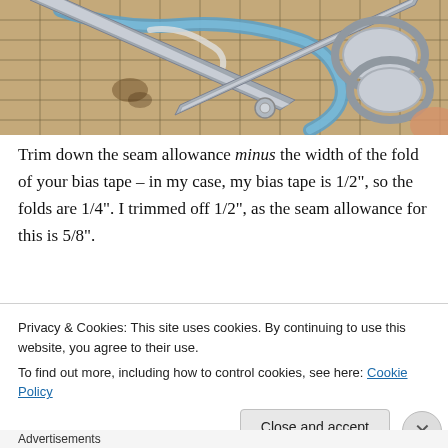[Figure (photo): Photo of scissors cutting blue bias tape on a gridded cutting mat (beige/tan background with black grid lines). Scissors are metallic/silver and positioned diagonally across the top of the image.]
Trim down the seam allowance minus the width of the fold of your bias tape – in my case, my bias tape is 1/2", so the folds are 1/4". I trimmed off 1/2", as the seam allowance for this is 5/8".
[Figure (photo): Partial view of next instructional images - dark teal/navy panel with notches and pink/skin-toned images partially visible at the bottom of the page, obscured by cookie banner.]
Privacy & Cookies: This site uses cookies. By continuing to use this website, you agree to their use.
To find out more, including how to control cookies, see here: Cookie Policy
Close and accept
Advertisements